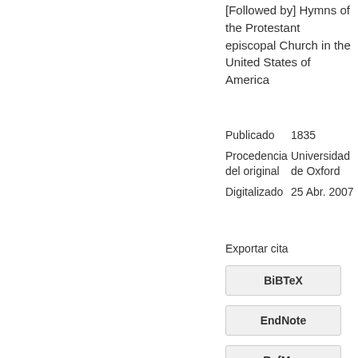[Followed by] Hymns of the Protestant episcopal Church in the United States of America
| Publicado | 1835 |
| Procedencia del original | Universidad de Oxford |
| Digitalizado | 25 Abr. 2007 |
Exportar cita
BiBTeX
EndNote
RefMan